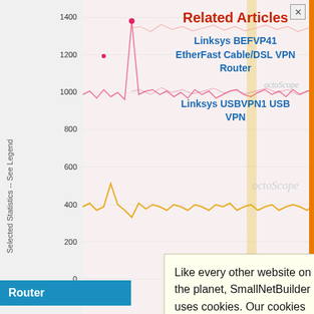[Figure (continuous-plot): Background line chart showing network statistics with y-axis values from 0 to 1400, labeled 'Selected Statistics -- See Legend'. Pink/red and yellow lines visible. OctoScope watermark visible.]
Related Articles
Linksys BEFVP41 EtherFast Cable/DSL VPN Router
octoScope
Linksys USBVPN1 USB VPN
d router
It's hard... router d... the big... show y...
Like every other website on the planet, SmallNetBuilder uses cookies. Our cookies track login status, but we only allow admins to log in anyway, so those don't apply to you. Any other cookies you pick up during your visit come from advertisers, which we don't control.
If you continue to use the site, you agree to tolerate our use of cookies. Thank you!
Router
k 4 Port
eview